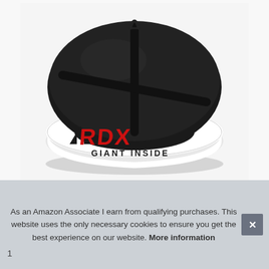[Figure (photo): RDX brand punching bag ceiling mount or round punching bag pad. The item is circular/disc-shaped with a black top surface and white side band displaying the RDX logo in black and red with the text 'GIANT INSIDE'. A metal hook ring is visible at the top center. The item rests on a white background.]
As an Amazon Associate I earn from qualifying purchases. This website uses the only necessary cookies to ensure you get the best experience on our website. More information